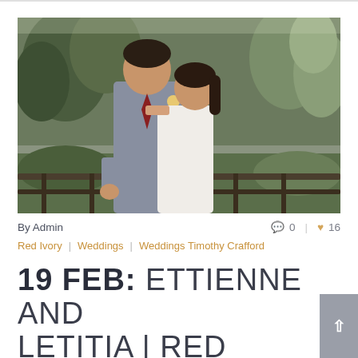[Figure (photo): Wedding photo of a couple (groom in grey suit with red tie, bride in white dress) standing on a deck/bridge with trees and greenery in the background.]
By Admin   0  16
Red Ivory | Weddings | Weddings Timothy Crafford
19 FEB: ETTIENNE AND LETITIA | RED IVORY WEDDING